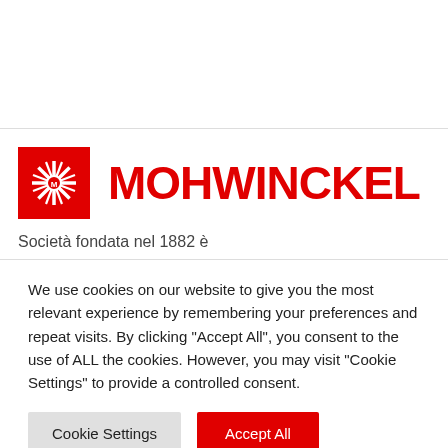[Figure (logo): Mohwinckel logo: red square with white snowflake/sun symbol and letter M, followed by MOHWINCKEL in large red bold text]
Società fondata nel 1882 è
We use cookies on our website to give you the most relevant experience by remembering your preferences and repeat visits. By clicking "Accept All", you consent to the use of ALL the cookies. However, you may visit "Cookie Settings" to provide a controlled consent.